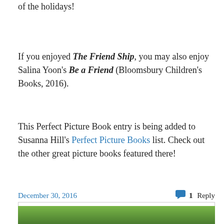of the holidays!
If you enjoyed The Friend Ship, you may also enjoy Salina Yoon's Be a Friend (Bloomsbury Children's Books, 2016).
This Perfect Picture Book entry is being added to Susanna Hill's Perfect Picture Books list. Check out the other great picture books featured there!
December 30, 2016
1 Reply
Privacy & Cookies: This site uses cookies. By continuing to use this website, you agree to their use.
To find out more, including how to control cookies, see here: Cookie Policy
[Figure (photo): Partial view of a green outdoor/nature photo at the bottom of the page]